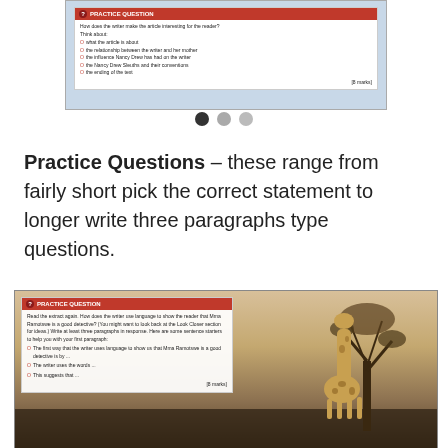[Figure (screenshot): Screenshot of a practice question box with red header reading 'PRACTICE QUESTION'. The question asks how the writer makes the article interesting for the reader, with bullet points about what the article is about, the relationship between the writer and her mother, the influence Nancy Drew has had on the writer, the Nancy Drew Sleuths and their conventions, and the ending of the text. [8 marks]]
[Figure (other): Navigation dots: one filled black dot and two gray dots indicating slideshow position]
Practice Questions – these range from fairly short pick the correct statement to longer write three paragraphs type questions.
[Figure (screenshot): Screenshot of a practice question box with red header reading 'PRACTICE QUESTION'. The question instructs the reader to read the extract again and asks how the writer uses language to show the reader that Mma Ramotswe is a good detective, with sentence starters provided. [8 marks]. Background shows a giraffe in an African savanna landscape with trees.]